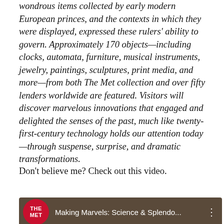wondrous items collected by early modern European princes, and the contexts in which they were displayed, expressed these rulers' ability to govern. Approximately 170 objects—including clocks, automata, furniture, musical instruments, jewelry, paintings, sculptures, print media, and more—from both The Met collection and over fifty lenders worldwide are featured. Visitors will discover marvelous innovations that engaged and delighted the senses of the past, much like twenty-first-century technology holds our attention today—through suspense, surprise, and dramatic transformations.
Don't believe me? Check out this video.
[Figure (screenshot): Video thumbnail for 'Making Marvels: Science & Splendo...' with The Met logo (red circle with THE MET text) on a brown/dark background]